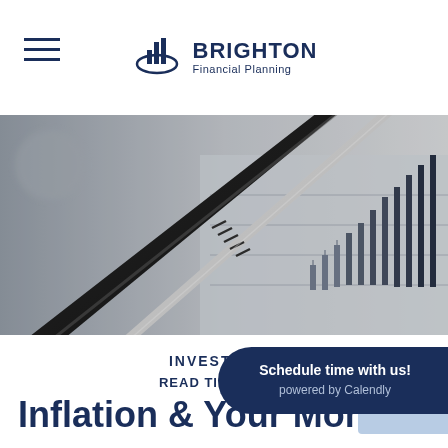Brighton Financial Planning
[Figure (photo): Close-up photo of two pens (one dark/metallic, one white) resting on a financial chart/graph paper with candlestick chart visible in soft focus background]
INVESTMENT
READ TIME: 3 MIN
Inflation & Your Money
Schedule time with us!
powered by Calendly